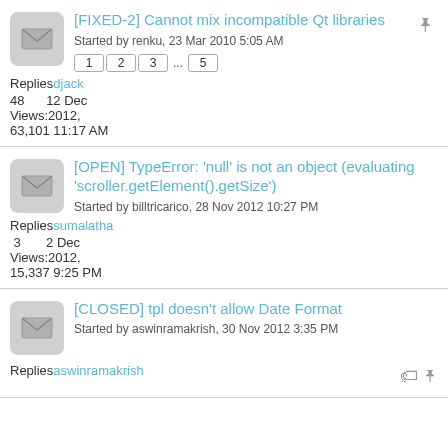[FIXED-2] Cannot mix incompatible Qt libraries | Started by renku, 23 Mar 2010 5:05 AM | Pages: 1 2 3 ... 5 | Replies: 48 | by djack | Views: 63,101 | 12 Dec 2012, 11:17 AM
[OPEN] TypeError: 'null' is not an object (evaluating 'scroller.getElement().getSize') | Started by billtricarico, 28 Nov 2012 10:27 PM | Replies: 3 | by sumalatha | Views: 15,337 | 2 Dec 2012, 9:25 PM
[CLOSED] tpl doesn't allow Date Format | Started by aswinramakrish, 30 Nov 2012 3:35 PM | Replies: by aswinramakrish